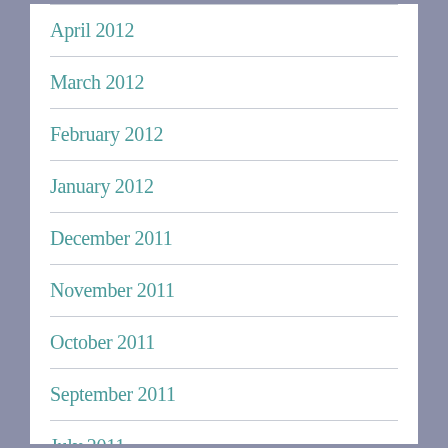April 2012
March 2012
February 2012
January 2012
December 2011
November 2011
October 2011
September 2011
July 2011
June 2011
May 2011